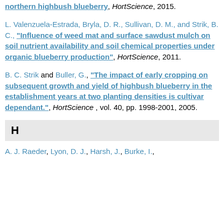northern highbush blueberry", HortScience, 2015.
L. Valenzuela-Estrada, Bryla, D. R., Sullivan, D. M., and Strik, B. C., "Influence of weed mat and surface sawdust mulch on soil nutrient availability and soil chemical properties under organic blueberry production", HortScience, 2011.
B. C. Strik and Buller, G., "The impact of early cropping on subsequent growth and yield of highbush blueberry in the establishment years at two planting densities is cultivar dependant.", HortScience, vol. 40, pp. 1998-2001, 2005.
H
A. J. Raeder, Lyon, D. J., Harsh, J., Burke, I.,